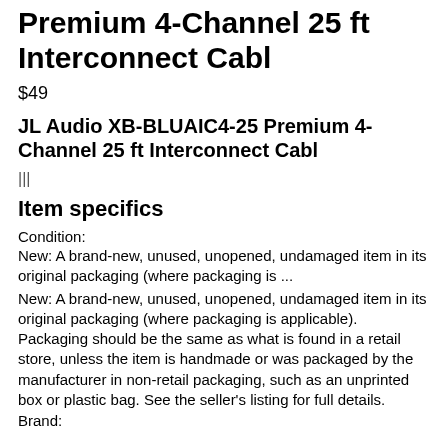Premium 4-Channel 25 ft Interconnect Cabl
$49
JL Audio XB-BLUAIC4-25 Premium 4-Channel 25 ft Interconnect Cabl
|||
Item specifics
Condition:
New: A brand-new, unused, unopened, undamaged item in its original packaging (where packaging is ...
New: A brand-new, unused, unopened, undamaged item in its original packaging (where packaging is applicable). Packaging should be the same as what is found in a retail store, unless the item is handmade or was packaged by the manufacturer in non-retail packaging, such as an unprinted box or plastic bag. See the seller's listing for full details.
Brand: